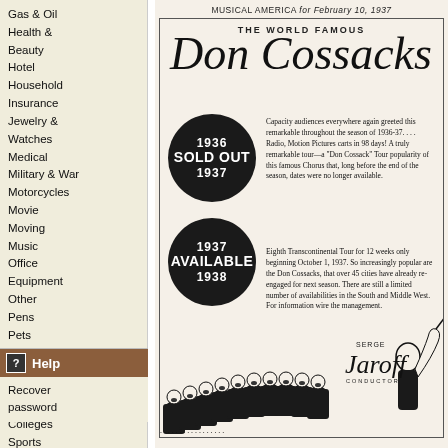Gas & Oil
Health & Beauty
Hotel
Household
Insurance
Jewelry & Watches
Medical
Military & War
Motorcycles
Movie
Moving
Music
Office Equipment
Other
Pens
Pets
Radio
Railroad
Restaurant
Schools & Colleges
Sports
Telephone
Television
Tires
Toys
Travel
Help
Recover password
MUSICAL AMERICA for February 10, 1937
THE WORLD FAMOUS Don Cossacks Ch...
[Figure (illustration): Black circle badge with '1936 SOLD OUT 1937' text in white on dark background]
Capacity audiences everywhere again greeted this remarkable throughout the season of 1936-37.... Radio, Motion Pictures carts in 98 days! A truly remarkable tour—a "Don Cossack" Tour popularity of this famous Chorus that, long before the end of the season, dates were no longer available.
[Figure (illustration): Black circle badge with '1937 AVAILABLE 1938' text in white on dark background]
Eighth Transcontinental Tour for 12 weeks only beginning October 1, 1937. So increasingly popular are the Don Cossacks, that over 45 cities have already re-engaged for next season. There are still a limited number of availabilities in the South and Middle West. For information wire the management.
[Figure (illustration): Illustration of Don Cossack chorus singers in a row at bottom, with Serge Jaroff conductor signature and silhouette of conductor's hand raised]